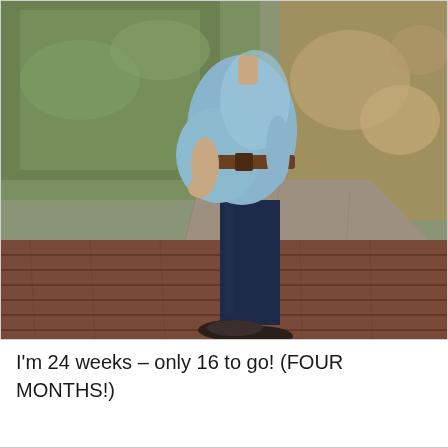[Figure (photo): A pregnant woman standing sideways on a wooden deck/boardwalk outdoors. She is wearing a light blue long-sleeve top with a brown woven belt, dark navy jeans, and dark flat shoes. She has one hand on her pregnant belly. The background shows a grass lawn with some fallen leaves and concrete walkway.]
I'm 24 weeks – only 16 to go! (FOUR MONTHS!)